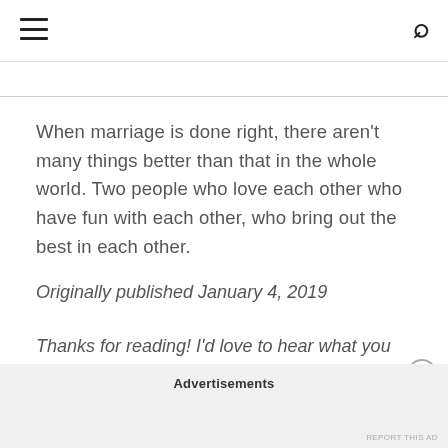When marriage is done right, there aren't many things better than that in the whole world. Two people who love each other who have fun with each other, who bring out the best in each other.
Originally published January 4, 2019
Thanks for reading! I'd love to hear what you think, and don't forget to subscribe!
Advertisements